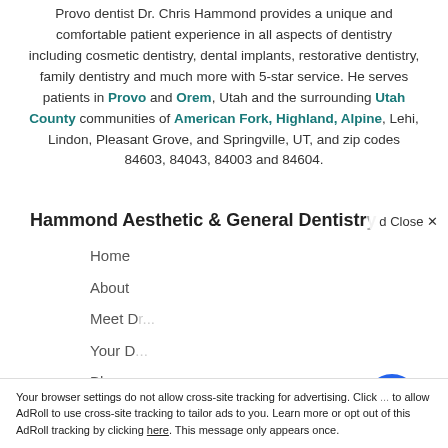Provo dentist Dr. Chris Hammond provides a unique and comfortable patient experience in all aspects of dentistry including cosmetic dentistry, dental implants, restorative dentistry, family dentistry and much more with 5-star service. He serves patients in Provo and Orem, Utah and the surrounding Utah County communities of American Fork, Highland, Alpine, Lehi, Lindon, Pleasant Grove, and Springville, UT, and zip codes 84603, 84043, 84003 and 84604.
Hammond Aesthetic & General Dentistry
Home
About
Meet D...
Your D...
Blog
Contact Us
[Figure (screenshot): Chat popup with avatar photo of a woman and text 'Hi there, have a question? Ask us here.' with a close button, and a blue circular chat button]
Your browser settings do not allow cross-site tracking for advertising. Click ... to allow AdRoll to use cross-site tracking to tailor ads to you. Learn more or opt out of this AdRoll tracking by clicking here. This message only appears once.